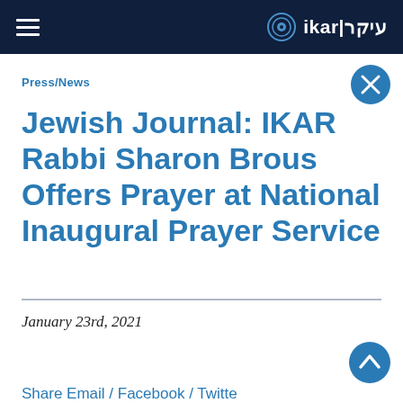ikar|עיקר
Press/News
Jewish Journal: IKAR Rabbi Sharon Brous Offers Prayer at National Inaugural Prayer Service
January 23rd, 2021
Share Email / Facebook / Twitter